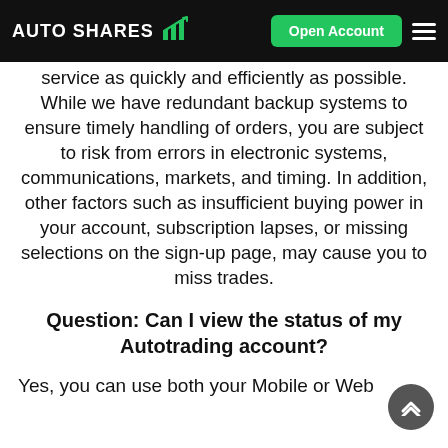AUTO SHARES | Open Account
service as quickly and efficiently as possible. While we have redundant backup systems to ensure timely handling of orders, you are subject to risk from errors in electronic systems, communications, markets, and timing. In addition, other factors such as insufficient buying power in your account, subscription lapses, or missing selections on the sign-up page, may cause you to miss trades.
Question: Can I view the status of my Autotrading account?
Yes, you can use both your Mobile or Web